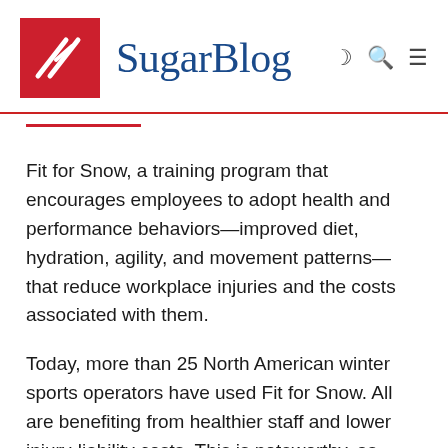SugarBlog
Fit for Snow, a training program that encourages employees to adopt health and performance behaviors—improved diet, hydration, agility, and movement patterns—that reduce workplace injuries and the costs associated with them.
Today, more than 25 North American winter sports operators have used Fit for Snow. All are benefiting from healthier staff and lower injury-liability costs. This is noteworthy, as overall injury rates and related costs in British Columbia, where the study began, and across